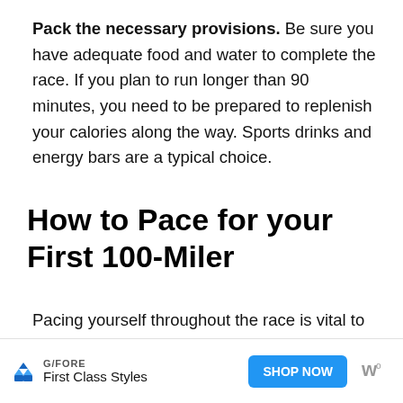Pack the necessary provisions. Be sure you have adequate food and water to complete the race. If you plan to run longer than 90 minutes, you need to be prepared to replenish your calories along the way. Sports drinks and energy bars are a typical choice.
How to Pace for your First 100-Miler
Pacing yourself throughout the race is vital to completion. You need to set realistic goals based on your current fitness level and skill set. Let's re...
[Figure (other): Advertisement banner: G/FORE brand, 'First Class Styles' tagline, 'SHOP NOW' blue button, with ad attribution icons]